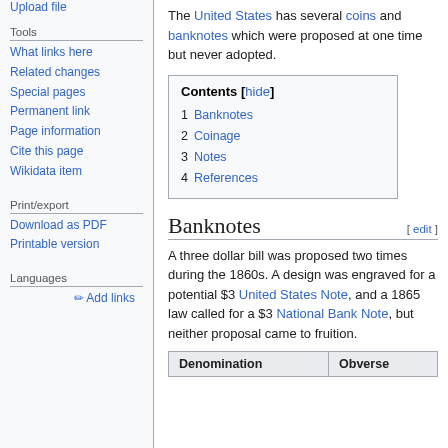Upload file
Tools
What links here
Related changes
Special pages
Permanent link
Page information
Cite this page
Wikidata item
Print/export
Download as PDF
Printable version
Languages
✎ Add links
The United States has several coins and banknotes which were proposed at one time but never adopted.
Contents [hide]
1 Banknotes
2 Coinage
3 Notes
4 References
Banknotes [edit]
A three dollar bill was proposed two times during the 1860s. A design was engraved for a potential $3 United States Note, and a 1865 law called for a $3 National Bank Note, but neither proposal came to fruition.
| Denomination | Obverse |
| --- | --- |